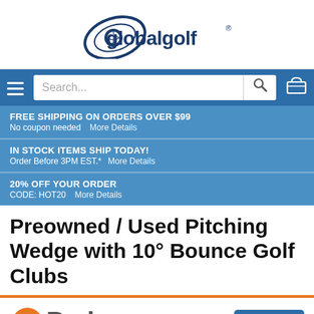[Figure (logo): Global Golf logo — stylized golf ball with swoosh and 'globalgolf' wordmark in dark blue]
[Figure (screenshot): Navigation bar with hamburger menu, search box, and cart icon on blue background]
FREE SHIPPING ON ORDERS OVER $99
No coupon needed  More Details
IN STOCK ITEMS SHIP TODAY!
Order Before 3PM EST.*  More Details
20% OFF YOUR ORDER
CODE: HOT20  More Details
Preowned / Used Pitching Wedge with 10° Bounce Golf Clubs
[Figure (logo): UPerks loyalty program logo — orange circular U icon with 'Perks' text, and a 'Join Now' blue button]